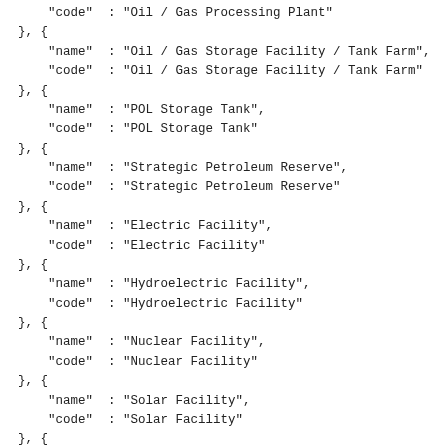Code block showing JSON array entries for facility types including Oil/Gas Processing Plant, Oil/Gas Storage Facility/Tank Farm, POL Storage Tank, Strategic Petroleum Reserve, Electric Facility, Hydroelectric Facility, Nuclear Facility, Solar Facility, Substation, Coal Facility, Wind Facility, Waste/Biomass Facility, Tidal Facility